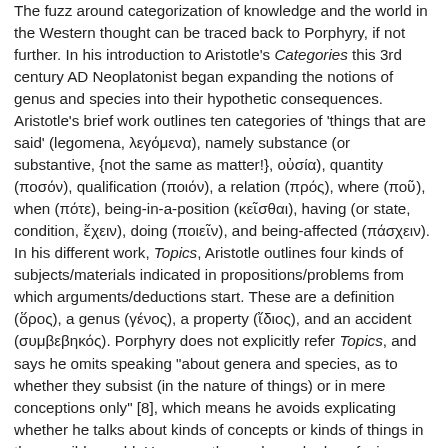The fuzz around categorization of knowledge and the world in the Western thought can be traced back to Porphyry, if not further. In his introduction to Aristotle's Categories this 3rd century AD Neoplatonist began expanding the notions of genus and species into their hypothetic consequences. Aristotle's brief work outlines ten categories of 'things that are said' (legomena, λεγόμενα), namely substance (or substantive, {not the same as matter!}, οὐσία), quantity (ποσόν), qualification (ποιόν), a relation (πρός), where (ποῦ), when (πότε), being-in-a-position (κεῖσθαι), having (or state, condition, ἔχειν), doing (ποιεῖν), and being-affected (πάσχειν). In his different work, Topics, Aristotle outlines four kinds of subjects/materials indicated in propositions/problems from which arguments/deductions start. These are a definition (ὅρος), a genus (γένος), a property (ἴδιος), and an accident (συμβεβηκός). Porphyry does not explicitly refer Topics, and says he omits speaking "about genera and species, as to whether they subsist (in the nature of things) or in mere conceptions only" [8], which means he avoids explicating whether he talks about kinds of concepts or kinds of things in the sensible world. However, the work sparked confusion, as the following passage [suggests]: